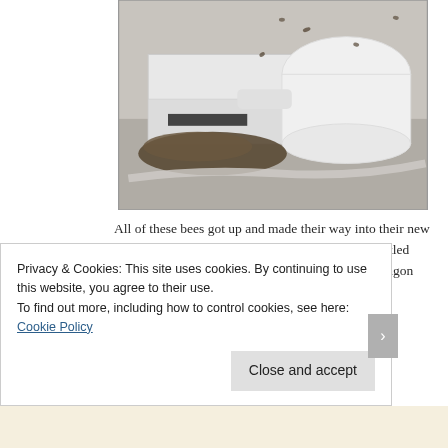[Figure (photo): Photo of bees being poured from a white cylindrical container into a white hive box, with many bees clustered at the entrance. The scene is set on a light-colored surface.]
All of these bees got up and made their way into their new home. After about an hour, these bees where all settled down in their new home. We left the hive in this wagon over night, giving the Scout bees a chance to make
Privacy & Cookies: This site uses cookies. By continuing to use this website, you agree to their use.
To find out more, including how to control cookies, see here:
Cookie Policy
Close and accept